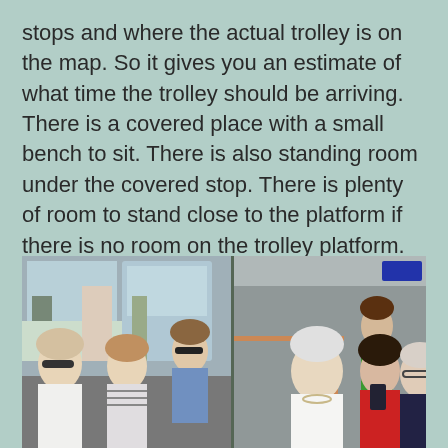stops and where the actual trolley is on the map. So it gives you an estimate of what time the trolley should be arriving. There is a covered place with a small bench to sit. There is also standing room under the covered stop. There is plenty of room to stand close to the platform if there is no room on the trolley platform.
[Figure (photo): Photo of people seated inside a trolley/tram. Left side shows three women seated together looking at the camera; right side shows an elderly woman in the foreground and a younger woman looking at her phone, with another elderly woman beside her.]